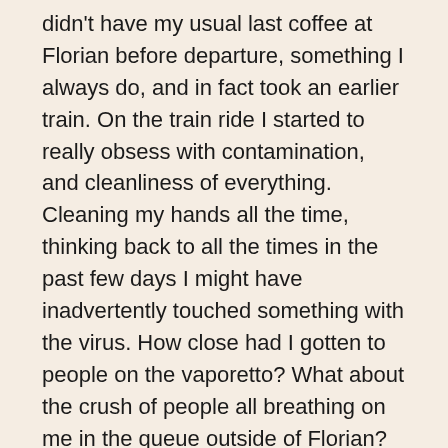didn't have my usual last coffee at Florian before departure, something I always do, and in fact took an earlier train. On the train ride I started to really obsess with contamination, and cleanliness of everything. Cleaning my hands all the time, thinking back to all the times in the past few days I might have inadvertently touched something with the virus. How close had I gotten to people on the vaporetto? What about the crush of people all breathing on me in the queue outside of Florian?
Arrival in Florence didn't make me feel any calmer. Even Florence was not herself either as the news grew more and more serious and panic was spreading. Though at that time Italians were more concerned about the economic impact this was all having on tourism. Jokes were made about how the world thought Italy was crying when really they were enjoying life. With a lot of hand sanitizer lets be honest. Digs at the foreign media for